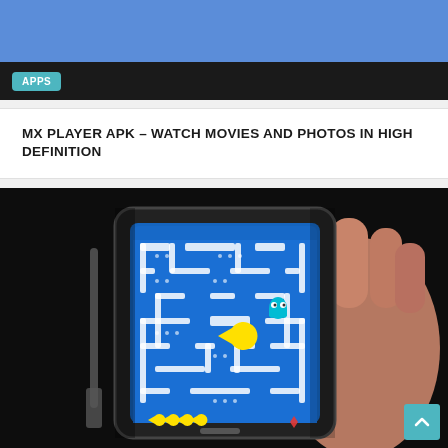[Figure (screenshot): Top blue banner strip of a website header]
APPS
MX PLAYER APK – WATCH MOVIES AND PHOTOS IN HIGH DEFINITION
[Figure (photo): A hand holding a smartphone displaying a Pac-Man game on a dark background]